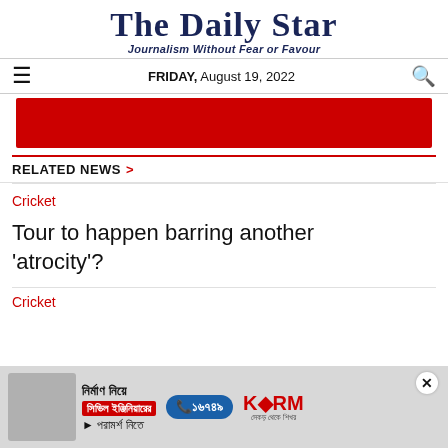The Daily Star — Journalism Without Fear or Favour — FRIDAY, August 19, 2022
[Figure (other): Red advertisement banner (partially visible, cropped)]
RELATED NEWS >
Cricket
Tour to happen barring another 'atrocity'?
Cricket
[Figure (other): Advertisement banner in Bengali for KSRM civil engineering consultation service with phone number 16749]